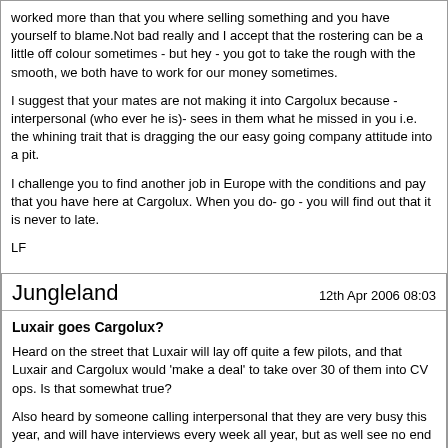worked more than that you where selling something and you have yourself to blame.Not bad really and I accept that the rostering can be a little off colour sometimes - but hey - you got to take the rough with the smooth, we both have to work for our money sometimes.

I suggest that your mates are not making it into Cargolux because - interpersonal (who ever he is)- sees in them what he missed in you i.e. the whining trait that is dragging the our easy going company attitude into a pit.

I challenge you to find another job in Europe with the conditions and pay that you have here at Cargolux. When you do- go - you will find out that it is never to late.

LF
Jungleland
12th Apr 2006 08:03
Luxair goes Cargolux?
Heard on the street that Luxair will lay off quite a few pilots, and that Luxair and Cargolux would 'make a deal' to take over 30 of them into CV ops. Is that somewhat true?

Also heard by someone calling interpersonal that they are very busy this year, and will have interviews every week all year, but as well see no end of it. Looks good. But do Luxair pilots have to go through them and IBF, or use the fast lane?